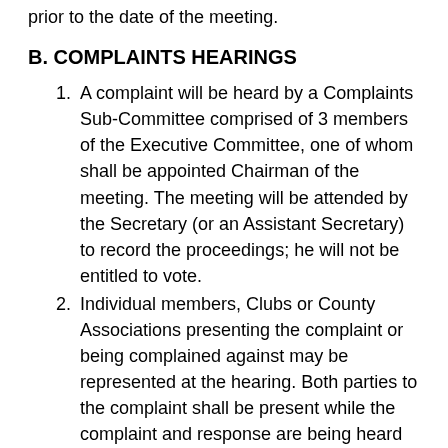prior to the date of the meeting.
B. COMPLAINTS HEARINGS
A complaint will be heard by a Complaints Sub-Committee comprised of 3 members of the Executive Committee, one of whom shall be appointed Chairman of the meeting. The meeting will be attended by the Secretary (or an Assistant Secretary) to record the proceedings; he will not be entitled to vote.
Individual members, Clubs or County Associations presenting the complaint or being complained against may be represented at the hearing. Both parties to the complaint shall be present while the complaint and response are being heard by the Sub-Committee.
A written report on the incident which gave rise to the complaint shall be submitted to the Complaints Sub-Committee by the person or organisation